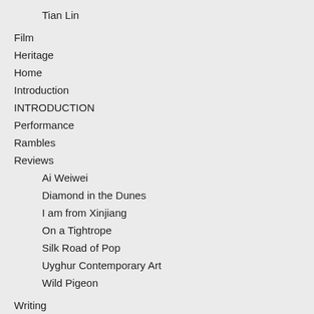Tian Lin
Film
Heritage
Home
Introduction
INTRODUCTION
Performance
Rambles
Reviews
Ai Weiwei
Diamond in the Dunes
I am from Xinjiang
On a Tightrope
Silk Road of Pop
Uyghur Contemporary Art
Wild Pigeon
Writing